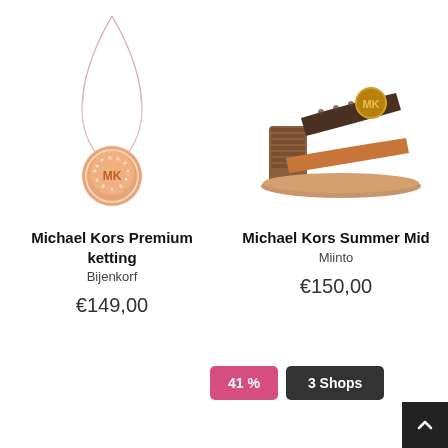[Figure (photo): Michael Kors rose gold necklace with MK medallion pendant on white background]
Michael Kors Premium ketting
Bijenkorf
€149,00
[Figure (photo): Michael Kors Summer Mid slide sandal in brown/tan leather with MK logo buckle on white background]
Michael Kors Summer Mid
Miinto
€150,00
41 %
3 Shops